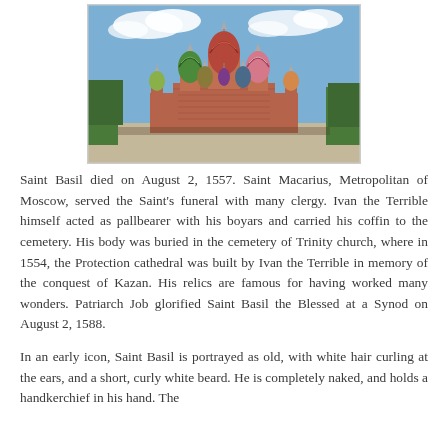[Figure (photo): Photograph of Saint Basil's Cathedral in Moscow, Russia, showing the colorful onion domes against a blue sky with crowds visible in the foreground on Red Square.]
Saint Basil died on August 2, 1557. Saint Macarius, Metropolitan of Moscow, served the Saint's funeral with many clergy. Ivan the Terrible himself acted as pallbearer with his boyars and carried his coffin to the cemetery. His body was buried in the cemetery of Trinity church, where in 1554, the Protection cathedral was built by Ivan the Terrible in memory of the conquest of Kazan. His relics are famous for having worked many wonders. Patriarch Job glorified Saint Basil the Blessed at a Synod on August 2, 1588.
In an early icon, Saint Basil is portrayed as old, with white hair curling at the ears, and a short, curly white beard. He is completely naked, and holds a handkerchief in his hand. The